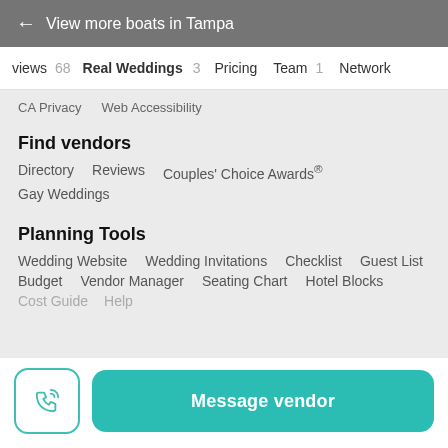← View more boats in Tampa
views 68   Real Weddings 3   Pricing   Team 1   Network
CA Privacy   Web Accessibility
Find vendors
Directory
Reviews
Couples' Choice Awards®
Gay Weddings
Planning Tools
Wedding Website
Wedding Invitations
Checklist
Guest List
Budget
Vendor Manager
Seating Chart
Hotel Blocks
Cost Guide   Help
Message vendor